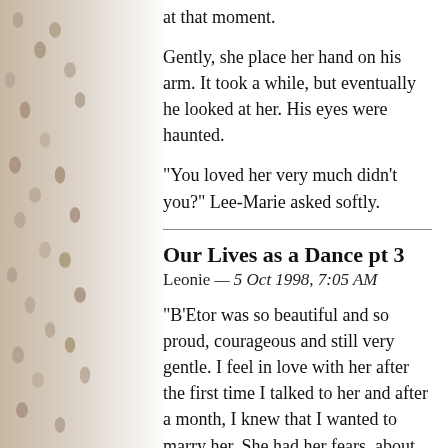at that moment.
Gently, she place her hand on his arm. It took a while, but eventually he looked at her. His eyes were haunted.
"You loved her very much didn't you?" Lee-Marie asked softly.
Our Lives as a Dance pt 3
Leonie — 5 Oct 1998, 7:05 AM
"B'Etor was so beautiful and so proud, courageous and still very gentle. I feel in love with her after the first time I talked to her and after a month, I knew that I wanted to marry her. She had her fears, about what people would think, about how my family would react to the marriage, about how my family would react to the marriage. But in the end I persuaded her that our love would be enough."
"But she was right wasn't she? She paid a high price and so did you."